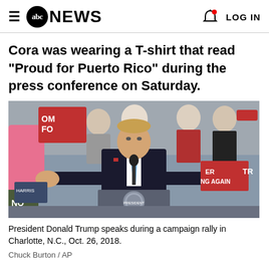abc NEWS  LOG IN
Cora was wearing a T-shirt that read "Proud for Puerto Rico" during the press conference on Saturday.
[Figure (photo): President Donald Trump speaking at a podium with the presidential seal during a campaign rally, crowd visible behind him with red shirts and signs.]
President Donald Trump speaks during a campaign rally in Charlotte, N.C., Oct. 26, 2018.
Chuck Burton / AP